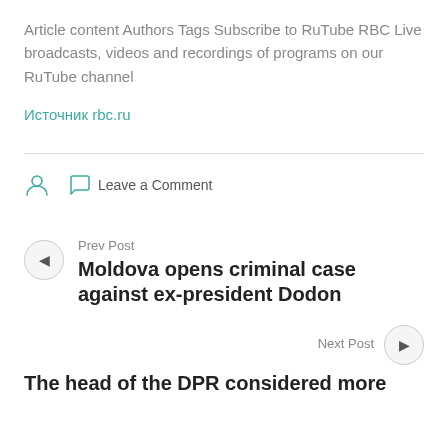Article content Authors Tags Subscribe to RuTube RBC Live broadcasts, videos and recordings of programs on our RuTube channel
Источник rbc.ru
Leave a Comment
Prev Post
Moldova opens criminal case against ex-president Dodon
Next Post
The head of the DPR considered more